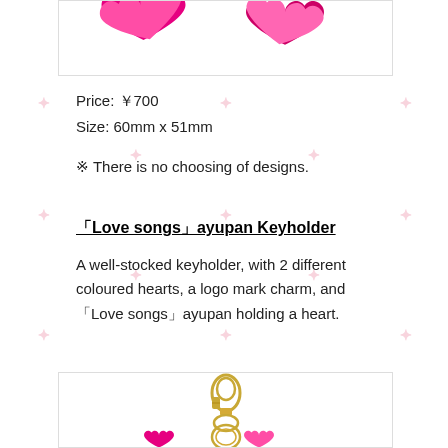[Figure (photo): Top portion of product image showing pink heart-shaped keyholder items against white background]
Price: ￥700
Size: 60mm x 51mm
※ There is no choosing of designs.
「Love songs」ayupan Keyholder
A well-stocked keyholder, with 2 different coloured hearts, a logo mark charm, and 「Love songs」ayupan holding a heart.
[Figure (photo): Bottom portion of keyholder product image showing gold metal clip and ring hardware with pink charm elements at bottom]